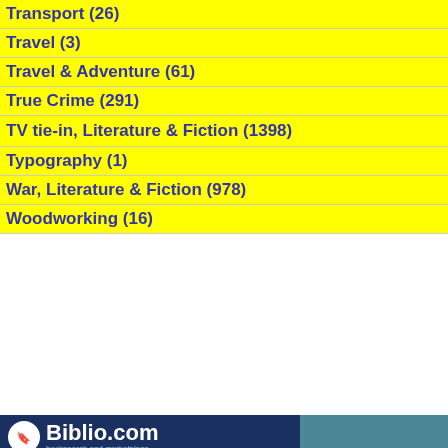Transport (26)
Travel (3)
Travel & Adventure (61)
True Crime (291)
TV tie-in, Literature & Fiction (1398)
Typography (1)
War, Literature & Fiction (978)
Woodworking (16)
[Figure (screenshot): Biblio.com booksearch and marketplace widget with search fields for author, title, and keyword/ISBN, plus a Search button and a decorative image of stacked books]
Pages: 1 ... 86 87 88 89 90 91 92 93 94 95 ... 11